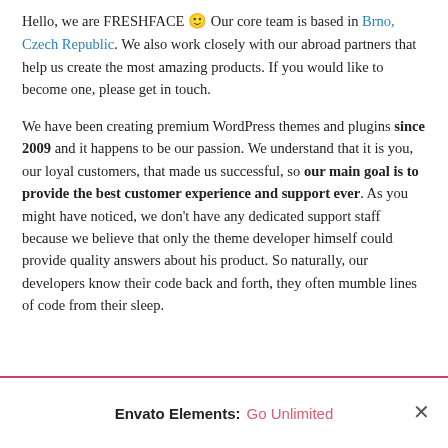Hello, we are FRESHFACE 🙂 Our core team is based in Brno, Czech Republic. We also work closely with our abroad partners that help us create the most amazing products. If you would like to become one, please get in touch.
We have been creating premium WordPress themes and plugins since 2009 and it happens to be our passion. We understand that it is you, our loyal customers, that made us successful, so our main goal is to provide the best customer experience and support ever. As you might have noticed, we don't have any dedicated support staff because we believe that only the theme developer himself could provide quality answers about his product. So naturally, our developers know their code back and forth, they often mumble lines of code from their sleep.
Envato Elements: Go Unlimited ×